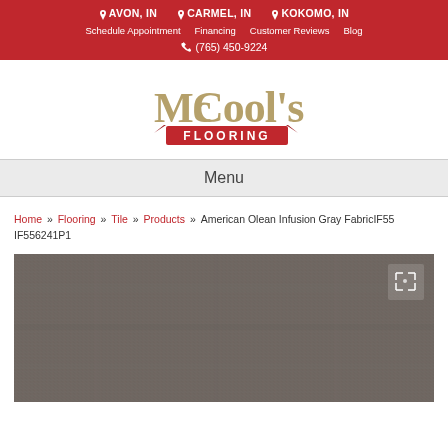AVON, IN  CARMEL, IN  KOKOMO, IN
Schedule Appointment  Financing  Customer Reviews  Blog
(765) 450-9224
[Figure (logo): McCool's Flooring logo - decorative text logo with red banner]
Menu
Home » Flooring » Tile » Products » American Olean Infusion Gray FabricIF55 IF556241P1
[Figure (photo): Gray fabric-look tile texture product image for American Olean Infusion Gray FabricIF55 IF556241P1]